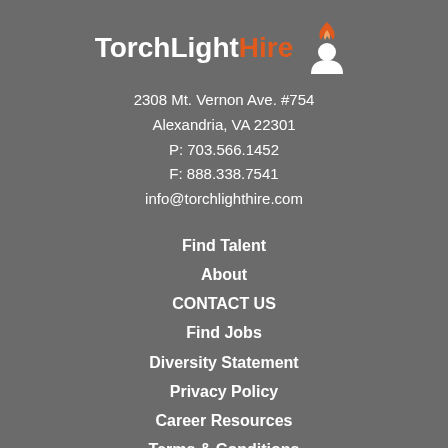[Figure (logo): TorchLightHire logo with orange and white text and an icon of a person with a torch/flame above their head]
2308 Mt. Vernon Ave. #754
Alexandria, VA 22301
P: 703.566.1452
F: 888.338.7541
info@torchlighthire.com
Find Talent
About
CONTACT US
Find Jobs
Diversity Statement
Privacy Policy
Career Resources
Terms & Conditions
EEO Policy